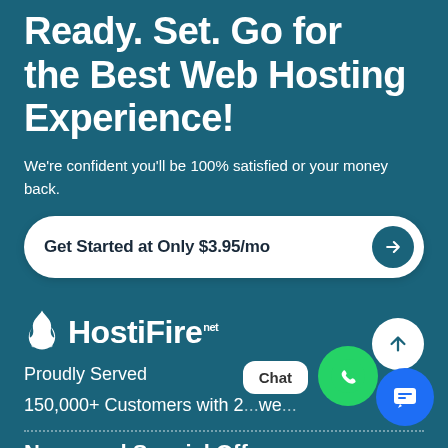Ready. Set. Go for the Best Web Hosting Experience!
We're confident you'll be 100% satisfied or your money back.
Get Started at Only $3.95/mo
[Figure (logo): HostiFire.net logo with flame icon]
Proudly Served
150,000+ Customers with 2 we
News and Special Offers